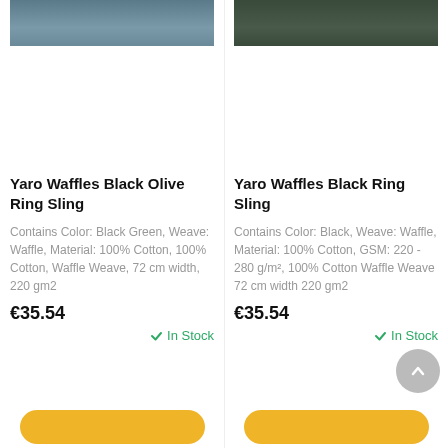[Figure (photo): Product photo of Yaro Waffles Black Olive Ring Sling, top portion cropped]
[Figure (photo): Product photo of Yaro Waffles Black Ring Sling, top portion cropped]
Yaro Waffles Black Olive Ring Sling
Yaro Waffles Black Ring Sling
Contains Color: Black Green, Weave: Waffle, Material: 100% Cotton, 100% Cotton, Waffle Weave, 72 cm width, 220 gm2
Contains Color: Black, Weave: Waffle, Material: 100% Cotton, GSM: 220 - 280 g/m², 100% Cotton Waffle Weave 72 cm width 220 gm2
€35.54
€35.54
In Stock
In Stock